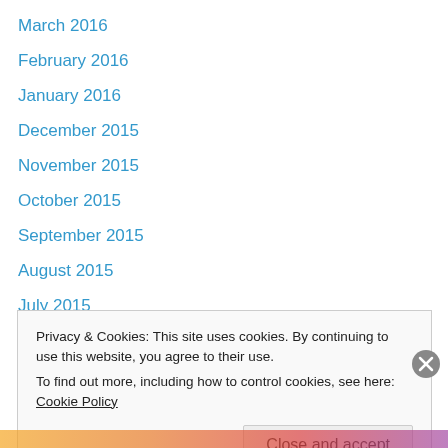March 2016
February 2016
January 2016
December 2015
November 2015
October 2015
September 2015
August 2015
July 2015
May 2014
April 2014
March 2014
February 2014
Privacy & Cookies: This site uses cookies. By continuing to use this website, you agree to their use.
To find out more, including how to control cookies, see here: Cookie Policy
Close and accept